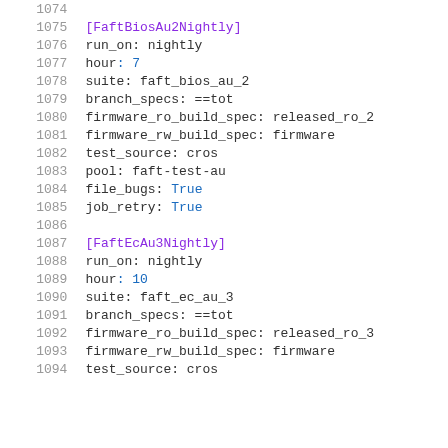Code listing lines 1074-1094 showing FaftBiosAu2Nightly and FaftEcAu3Nightly configuration blocks
1074
1075  [FaftBiosAu2Nightly]
1076  run_on: nightly
1077  hour: 7
1078  suite: faft_bios_au_2
1079  branch_specs: ==tot
1080  firmware_ro_build_spec: released_ro_2
1081  firmware_rw_build_spec: firmware
1082  test_source: cros
1083  pool: faft-test-au
1084  file_bugs: True
1085  job_retry: True
1086
1087  [FaftEcAu3Nightly]
1088  run_on: nightly
1089  hour: 10
1090  suite: faft_ec_au_3
1091  branch_specs: ==tot
1092  firmware_ro_build_spec: released_ro_3
1093  firmware_rw_build_spec: firmware
1094  test_source: cros